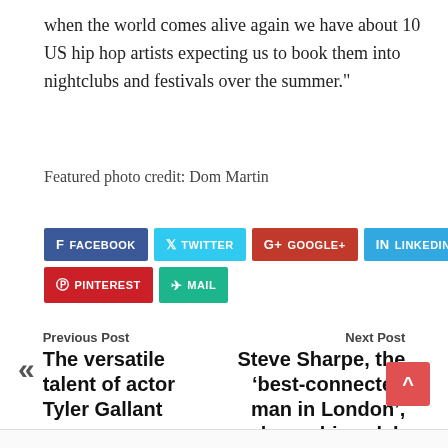when the world comes alive again we have about 10 US hip hop artists expecting us to book them into nightclubs and festivals over the summer.”
Featured photo credit: Dom Martin
[Figure (infographic): Social media share buttons: Facebook, Twitter, Google+, LinkedIn, Tumblr, Pinterest, Mail]
Previous Post — The versatile talent of actor Tyler Gallant
Next Post — Steve Sharpe, the ‘best-connected man in London’, shares his celeb secrets